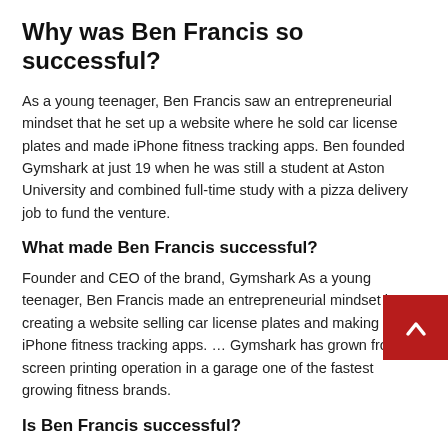Why was Ben Francis so successful?
As a young teenager, Ben Francis saw an entrepreneurial mindset that he set up a website where he sold car license plates and made iPhone fitness tracking apps. Ben founded Gymshark at just 19 when he was still a student at Aston University and combined full-time study with a pizza delivery job to fund the venture.
What made Ben Francis successful?
Founder and CEO of the brand, Gymshark As a young teenager, Ben Francis made an entrepreneurial mindset by creating a website selling car license plates and making iPhone fitness tracking apps. … Gymshark has grown from a screen printing operation in a garage one of the fastest growing fitness brands.
Is Ben Francis successful?